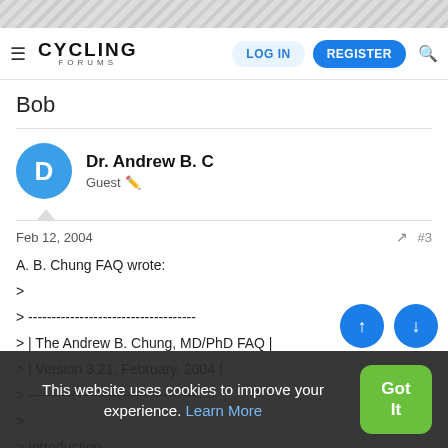Cycling Forums — LOG IN | REGISTER
Bob
Dr. Andrew B. C
Guest
Feb 12, 2004  #3
A. B. Chung FAQ wrote:
>
> ------------------------------------
> | The Andrew B. Chung, MD/PhD FAQ |
> | Version 3.21, February, 2004 |
> ------------------------------------
>
> Introduction
This website uses cookies to improve your experience. Learn More